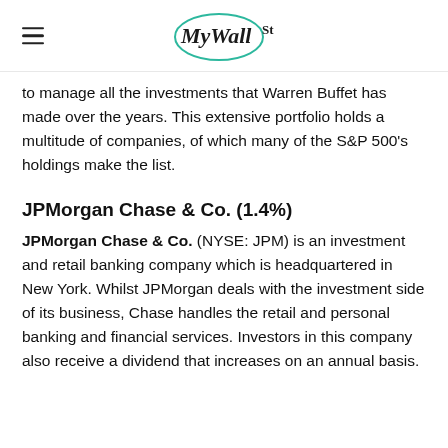MyWallSt
to manage all the investments that Warren Buffet has made over the years. This extensive portfolio holds a multitude of companies, of which many of the S&P 500's holdings make the list.
JPMorgan Chase & Co. (1.4%)
JPMorgan Chase & Co. (NYSE: JPM) is an investment and retail banking company which is headquartered in New York. Whilst JPMorgan deals with the investment side of its business, Chase handles the retail and personal banking and financial services. Investors in this company also receive a dividend that increases on an annual basis.